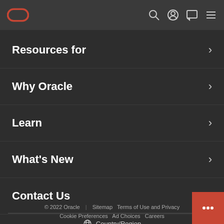Oracle navigation header with logo, search, profile, chat, and menu icons
Resources for
Why Oracle
Learn
What's New
Contact Us
Country/Region
© 2022 Oracle | Sitemap   Terms of Use and Privacy   Cookie Preferences   Ad Choices   Careers